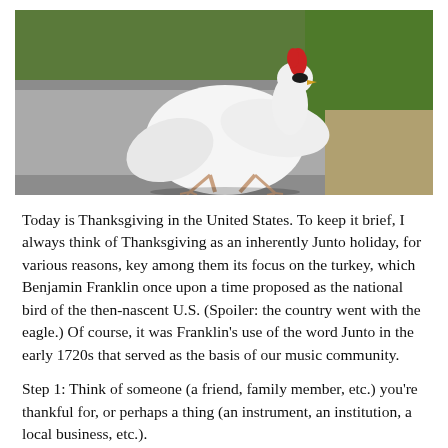[Figure (photo): A white bird (turkey/chicken) with a red comb walking across a road, with green grass in the background.]
Today is Thanksgiving in the United States. To keep it brief, I always think of Thanksgiving as an inherently Junto holiday, for various reasons, key among them its focus on the turkey, which Benjamin Franklin once upon a time proposed as the national bird of the then-nascent U.S. (Spoiler: the country went with the eagle.) Of course, it was Franklin's use of the word Junto in the early 1720s that served as the basis of our music community.
Step 1: Think of someone (a friend, family member, etc.) you're thankful for, or perhaps a thing (an instrument, an institution, a local business, etc.).